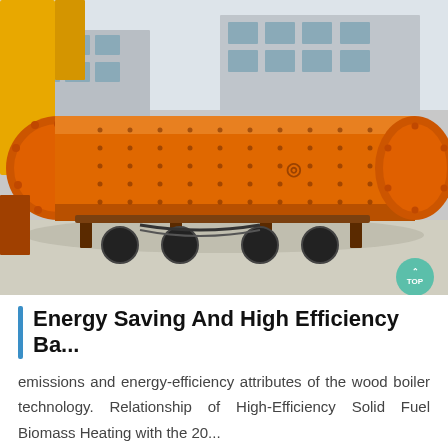[Figure (photo): Large orange industrial cylindrical ball mill or rotary kiln being lifted by a yellow crane in an industrial yard. The machine is painted bright orange with bolted flanges visible on both ends. Buildings visible in the background.]
Energy Saving And High Efficiency Ba...
emissions and energy-efficiency attributes of the wood boiler technology. Relationship of High-Efficiency Solid Fuel Biomass Heating with the 20...